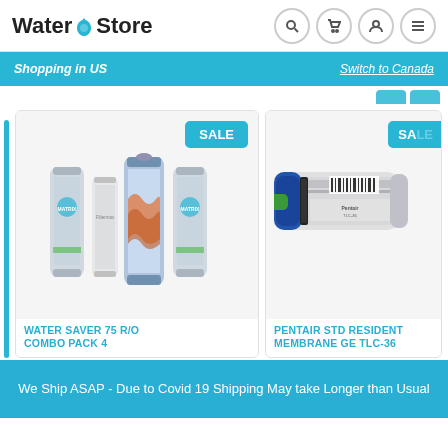Water eStore
Shopping in US
Switch to Canada
[Figure (photo): Water filter cartridges set - WATER SAVER 75 R/O COMBO PACK 4 product photo showing four filter cartridges]
WATER SAVER 75 R/O COMBO PACK 4
[Figure (photo): Pentair membrane filter - PENTAIR STD RESIDENT MEMBRANE GE TLC-36 product photo showing single filter with blue cap and green fitting]
PENTAIR STD RESIDENT MEMBRANE GE TLC-36
We Ship ASAP - Due to Covid 19 Shipping May take Longer than Usual